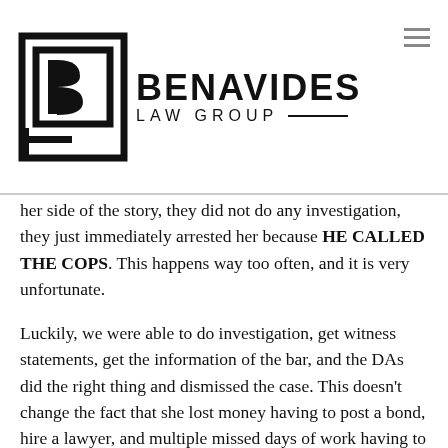BENAVIDES LAW GROUP
her side of the story, they did not do any investigation, they just immediately arrested her because HE CALLED THE COPS.  This happens way too often, and it is very unfortunate.
Luckily, we were able to do investigation, get witness statements, get the information of the bar, and the DAs did the right thing and dismissed the case.  This doesn't change the fact that she lost money having to post a bond, hire a lawyer, and multiple missed days of work having to go to court.  And the worst thing is, the person who should have been arrested faced no consequences.
So just remember, first to the phone typically wins.  So, if you have been assaulted you need to protect yourself